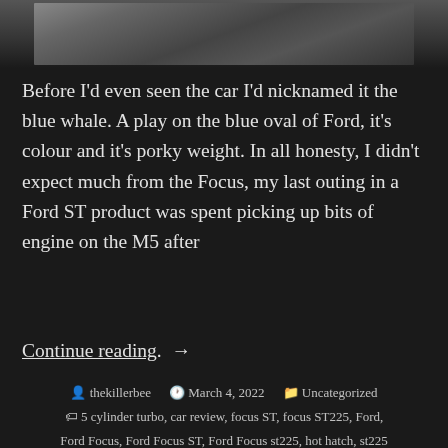[Figure (photo): Partial photo of a dark gravel/asphalt surface, cropped at the top of the page]
Before I'd even seen the car I'd nicknamed it the blue whale. A play on the blue oval of Ford, it's colour and it's porky weight. In all honesty, I didn't expect much from the Focus, my last outing in a Ford ST product was spent picking up bits of engine on the M5 after
Continue reading. →
thekillerbee   March 4, 2022   Uncategorized  5 cylinder turbo, car review, focus ST, focus ST225, Ford, Ford Focus, Ford Focus ST, Ford Focus st225, hot hatch, st225  Leave a comment